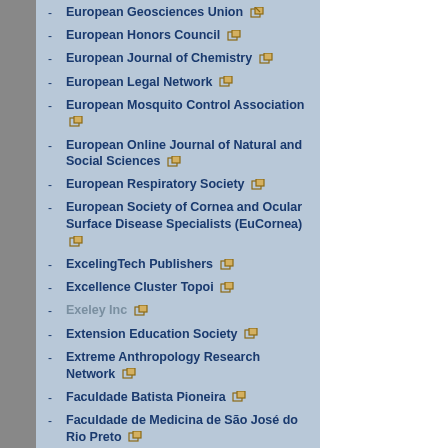European Geosciences Union
European Honors Council
European Journal of Chemistry
European Legal Network
European Mosquito Control Association
European Online Journal of Natural and Social Sciences
European Respiratory Society
European Society of Cornea and Ocular Surface Disease Specialists (EuCornea)
ExcelingTech Publishers
Excellence Cluster Topoi
Exeley Inc
Extension Education Society
Extreme Anthropology Research Network
Faculdade Batista Pioneira
Faculdade de Medicina de São José do Rio Preto
Faculdade de Medicina do ABC